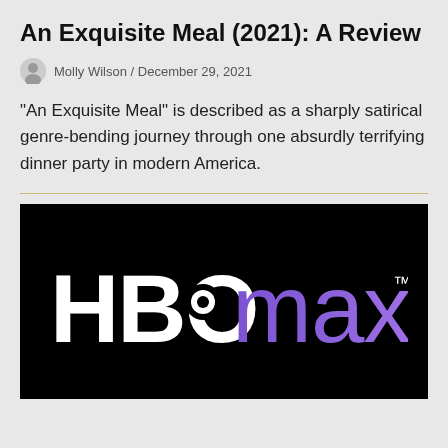An Exquisite Meal (2021): A Review
Molly Wilson / December 29, 2021
“An Exquisite Meal” is described as a sharply satirical genre-bending journey through one absurdly terrifying dinner party in modern America.
[Figure (logo): HBO Max logo on a black background. 'HBO' in white bold letters with a circle inside the 'O', followed by 'max' in purple-to-blue gradient lowercase letters with a trademark symbol.]